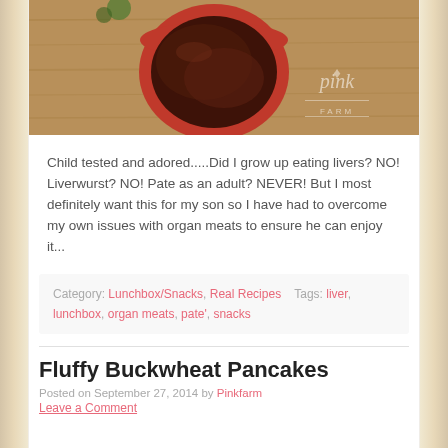[Figure (photo): A red bowl containing dark brown liver pate on a wooden cutting board, with a Pink Farm watermark in the bottom right corner.]
Child tested and adored.....Did I grow up eating livers? NO! Liverwurst? NO! Pate as an adult? NEVER! But I most definitely want this for my son so I have had to overcome my own issues with organ meats to ensure he can enjoy it...
Category: Lunchbox/Snacks, Real Recipes   Tags: liver, lunchbox, organ meats, pate', snacks
Fluffy Buckwheat Pancakes
Posted on September 27, 2014 by Pinkfarm
Leave a Comment